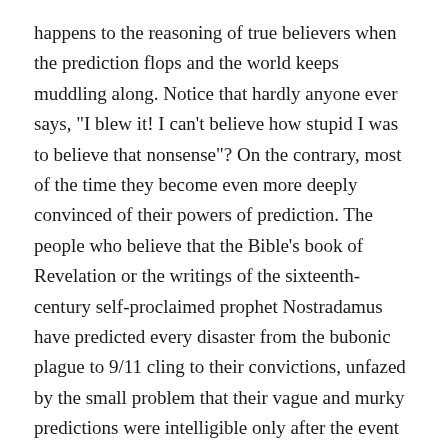happens to the reasoning of true believers when the prediction flops and the world keeps muddling along. Notice that hardly anyone ever says, "I blew it! I can't believe how stupid I was to believe that nonsense"? On the contrary, most of the time they become even more deeply convinced of their powers of prediction. The people who believe that the Bible's book of Revelation or the writings of the sixteenth-century self-proclaimed prophet Nostradamus have predicted every disaster from the bubonic plague to 9/11 cling to their convictions, unfazed by the small problem that their vague and murky predictions were intelligible only after the event occurred.
Half a century ago, a young social psychologist named Leon Festinger and two associates infiltrated a group of people who believed the world would end on December 21. They